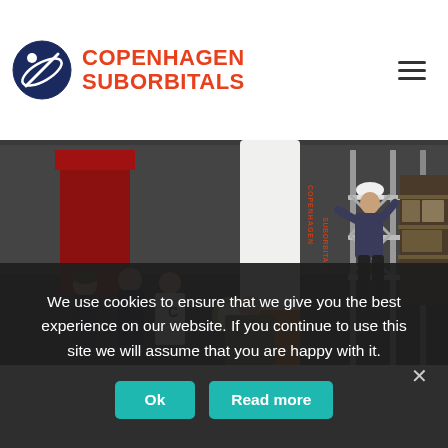[Figure (logo): Copenhagen Suborbitals logo with rocket/planet icon and orange text]
[Figure (photo): Indoor warehouse/workshop with engineers assembling a white rocket labeled COPENHAGEN SUBORBITALS. A person in a hard hat stands on scaffolding working on the top of the rocket. Several workers stand at the base. Industrial shelving and equipment visible in background.]
We use cookies to ensure that we give you the best experience on our website. If you continue to use this site we will assume that you are happy with it.
Ok
Read more